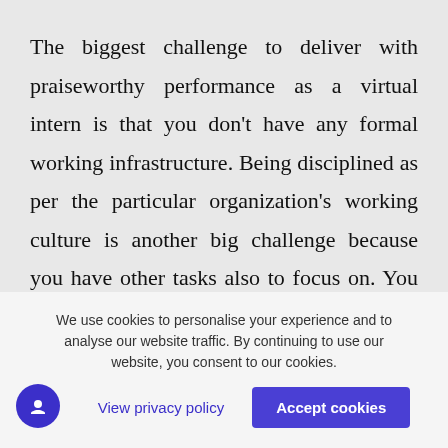The biggest challenge to deliver with praiseworthy performance as a virtual intern is that you don't have any formal working infrastructure. Being disciplined as per the particular organization's working culture is another big challenge because you have other tasks also to focus on. You might get indulged in job searching, preparing for competitions, attending interviews, and also in household tasks. Delivering your best free of cost needs
We use cookies to personalise your experience and to analyse our website traffic. By continuing to use our website, you consent to our cookies.
View privacy policy
Accept cookies